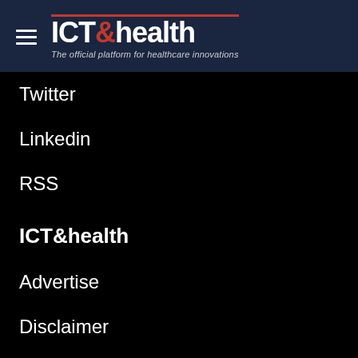[Figure (logo): ICT&health logo with hamburger menu icon. Text reads 'ICT&health' with '&' in red/orange, underlined in red. Tagline: 'The official platform for healthcare innovations'. Dark navy background.]
Twitter
Linkedin
RSS
ICT&health
Advertise
Disclaimer
Contact